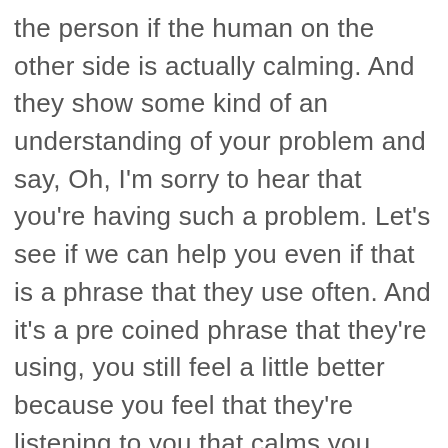the person if the human on the other side is actually calming. And they show some kind of an understanding of your problem and say, Oh, I'm sorry to hear that you're having such a problem. Let's see if we can help you even if that is a phrase that they use often. And it's a pre coined phrase that they're using, you still feel a little better because you feel that they're listening to you that calms you down. So it kind of is, you know, the idea of building compassionate chat bots kind of originated from it. But then now after the after this I'll extrapolated to other use cases, we're actually having such compassion might be a lot more useful and important and